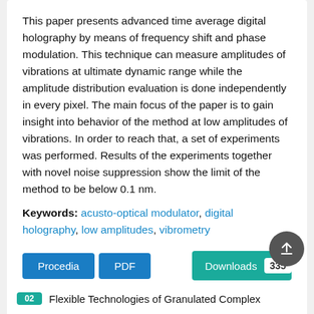This paper presents advanced time average digital holography by means of frequency shift and phase modulation. This technique can measure amplitudes of vibrations at ultimate dynamic range while the amplitude distribution evaluation is done independently in every pixel. The main focus of the paper is to gain insight into behavior of the method at low amplitudes of vibrations. In order to reach that, a set of experiments was performed. Results of the experiments together with novel noise suppression show the limit of the method to be below 0.1 nm.
Keywords: acusto-optical modulator, digital holography, low amplitudes, vibrometry
Procedia | PDF | Downloads 335
02 Flexible Technologies of Granulated Complex